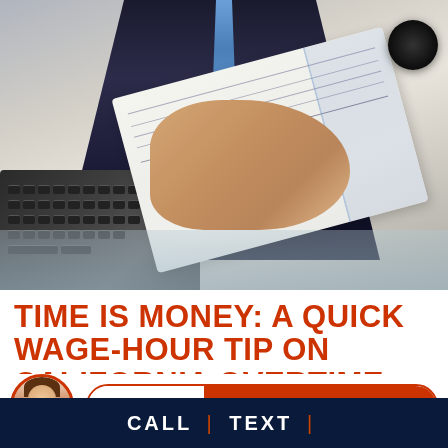[Figure (photo): A person in a dark suit and blue tie handing a check/document across a glass desk, with a keyboard visible in the background.]
TIME IS MONEY: A QUICK WAGE-HOUR TIP ON CALIFORNIA OVERTIME
For employees and employers, US labor law is broad and
[Figure (other): Live chat widget showing a female avatar and a button with LIVE CHAT | START NOW]
CALL | TEXT |